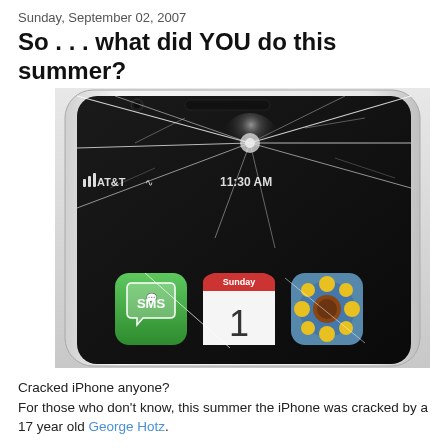Sunday, September 02, 2007
So . . . what did YOU do this summer?
[Figure (photo): Close-up photograph of an iPhone with a severely cracked screen. The screen shows AT&T carrier, 11:30 AM time, and app icons including SMS (green), Calendar showing Sunday/1, and a sunflower photo app. The phone has a white casing.]
Cracked iPhone anyone?
For those who don't know, this summer the iPhone was cracked by a 17 year old George Hotz.